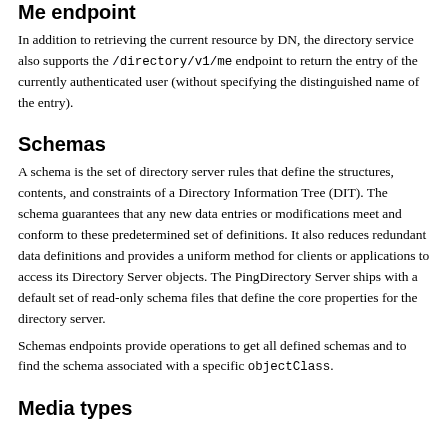Me endpoint
In addition to retrieving the current resource by DN, the directory service also supports the /directory/v1/me endpoint to return the entry of the currently authenticated user (without specifying the distinguished name of the entry).
Schemas
A schema is the set of directory server rules that define the structures, contents, and constraints of a Directory Information Tree (DIT). The schema guarantees that any new data entries or modifications meet and conform to these predetermined set of definitions. It also reduces redundant data definitions and provides a uniform method for clients or applications to access its Directory Server objects. The PingDirectory Server ships with a default set of read-only schema files that define the core properties for the directory server.
Schemas endpoints provide operations to get all defined schemas and to find the schema associated with a specific objectClass.
Media types